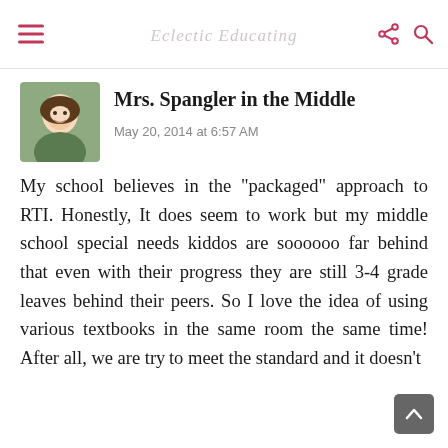Eclectic Educating
Mrs. Spangler in the Middle
May 20, 2014 at 6:57 AM
My school believes in the "packaged" approach to RTI. Honestly, It does seem to work but my middle school special needs kiddos are soooooo far behind that even with their progress they are still 3-4 grade leaves behind their peers. So I love the idea of using various textbooks in the same room the same time! After all, we are trying to meet the standard and it doesn't